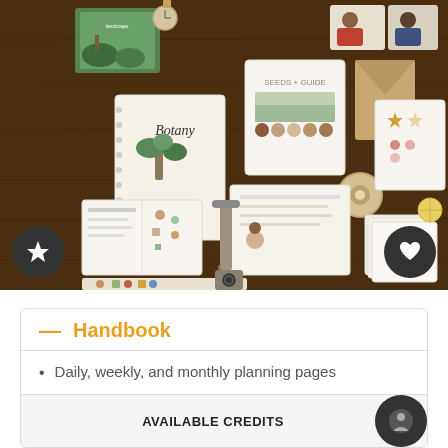[Figure (photo): Flat lay photography of educational homeschool planning materials including notebooks, stickers, handbook titled 'Botany', planning worksheets, cards, and craft supplies arranged on a dark wood surface. Two circular buttons visible: star (bottom-left) and heart (bottom-right).]
— Handbook
Daily, weekly, and monthly planning pages
Book list including reading guides with recommended correspondence, and summaries for each
AVAILABLE CREDITS